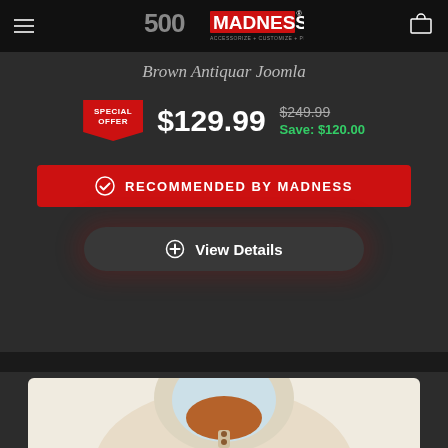500MADNESS - ACCESSORIZE + CUSTOMIZE + PERSONALIZE
Brown Antiquar Joomla
SPECIAL OFFER $129.99  $249.99  Save: $120.00
✔ RECOMMENDED BY MADNESS
+ View Details
[Figure (photo): A beige/cream hooded jacket with brown collar and button details, shown from the front on a white background]